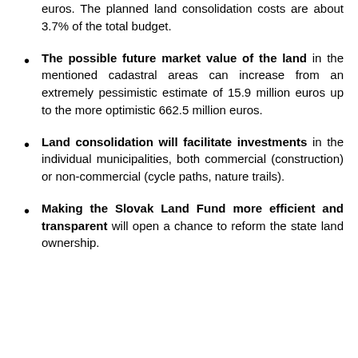euros. The planned land consolidation costs are about 3.7% of the total budget.
The possible future market value of the land in the mentioned cadastral areas can increase from an extremely pessimistic estimate of 15.9 million euros up to the more optimistic 662.5 million euros.
Land consolidation will facilitate investments in the individual municipalities, both commercial (construction) or non-commercial (cycle paths, nature trails).
Making the Slovak Land Fund more efficient and transparent will open a chance to reform the state land ownership.